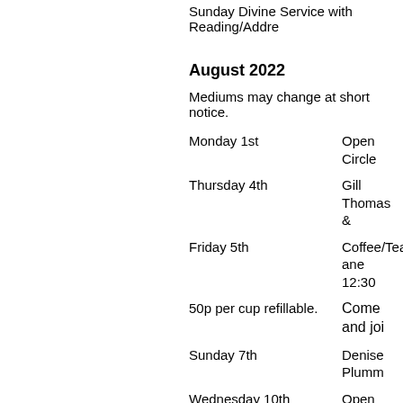Sunday Divine Service with Reading/Addre
August 2022
Mediums may change at short notice.
Monday 1st — Open Circle
Thursday 4th — Gill Thomas &
Friday 5th — Coffee/Tea and 12:30
50p per cup refillable. — Come and joi
Sunday 7th — Denise Plumm
Wednesday 10th — Open Platform
Thursday 11th — Jill Picket
Sunday 14th — Celia Nitchell
Monday 15th — Open Circle
Thursday 18th — Mark McDonag
Sunday 21st — Spencer Rose